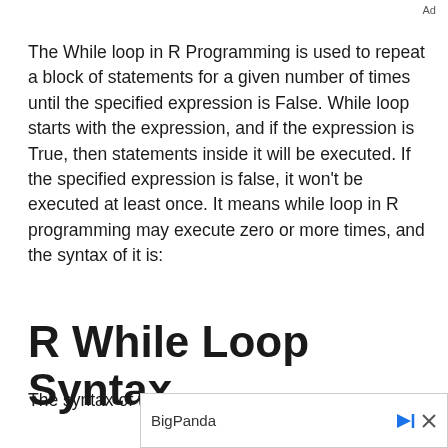Ad
The While loop in R Programming is used to repeat a block of statements for a given number of times until the specified expression is False. While loop starts with the expression, and if the expression is True, then statements inside it will be executed. If the specified expression is false, it won't be executed at least once. It means while loop in R programming may execute zero or more times, and the syntax of it is:
R While Loop Syntax
The syntax of the While loop is
[Figure (other): Advertisement banner with BigPanda text and play/close icons]